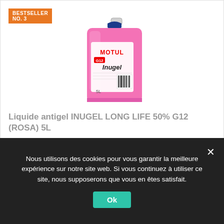BESTSELLER NO. 3
[Figure (photo): A 5-liter pink/red container of Motul Inugel Long Life antifreeze coolant with a blue cap, showing the product label with MOTUL branding and barcode.]
Liquide antigel INUGEL LONG LIFE 50% G12 (ROSA) 5L
21,67 EUR ✓Prime
Nous utilisons des cookies pour vous garantir la meilleure expérience sur notre site web. Si vous continuez à utiliser ce site, nous supposerons que vous en êtes satisfait.
Ok